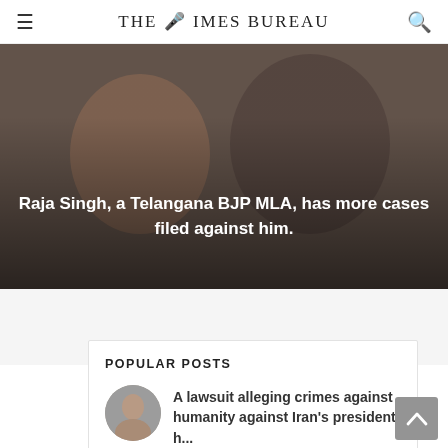THE TIMES BUREAU
[Figure (photo): A blurred news photo with two people, used as hero image background for the headline about Raja Singh.]
Raja Singh, a Telangana BJP MLA, has more cases filed against him.
POPULAR POSTS
A lawsuit alleging crimes against humanity against Iran's president h...